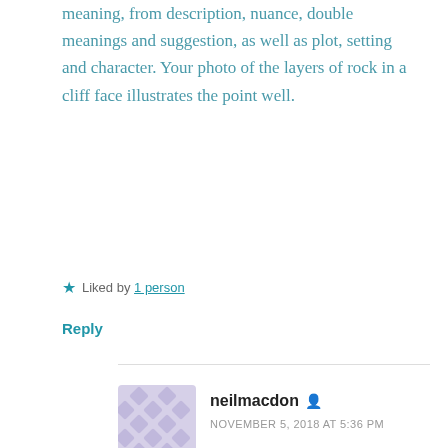meaning, from description, nuance, double meanings and suggestion, as well as plot, setting and character. Your photo of the layers of rock in a cliff face illustrates the point well.
Liked by 1 person
Reply
neilmacdon
NOVEMBER 5, 2018 AT 5:36 PM
Thanks so much for commenting, Andy.
Liked by 1 person
Reply